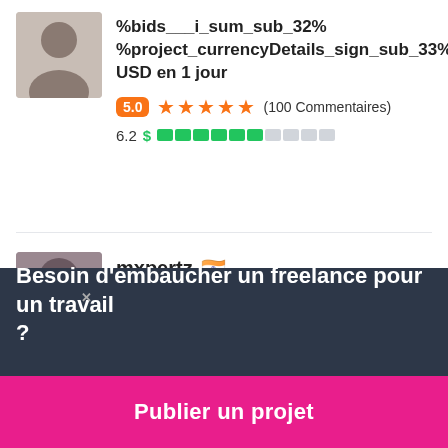%bids___i_sum_sub_32% %project_currencyDetails_sign_sub_33% USD en 1 jour
5.0 ★★★★★ (100 Commentaires)
6.2 $ ▓▓▓▓▓▓░░░░
mxpertz 🇮🇳
4.9 ★★★★★ (36 Commentaires)
Besoin d'embaucher un freelance pour un travail ?
Publier un projet